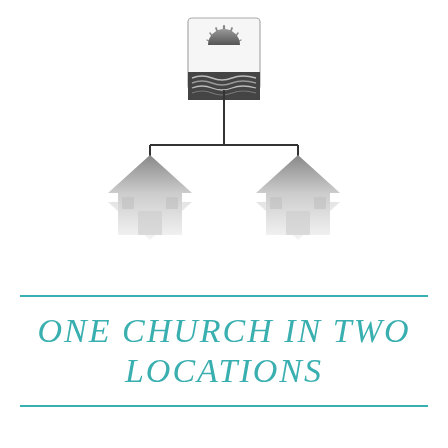[Figure (illustration): Organizational diagram showing a sunrise/landscape logo at the top center, connected by a horizontal line to two church building icons below on the left and right, representing one church in two locations.]
ONE CHURCH IN TWO LOCATIONS